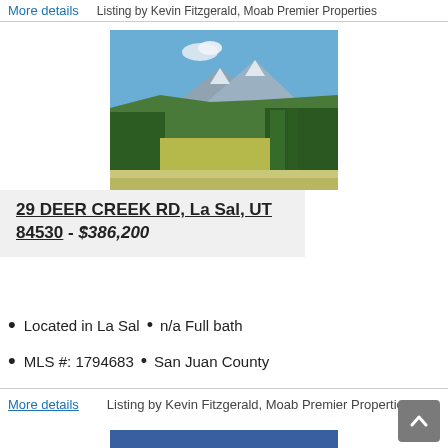More details  Listing by Kevin Fitzgerald, Moab Premier Properties
[Figure (photo): Outdoor landscape photo showing green meadows, trees, and mountains under a blue sky with a few clouds]
29 DEER CREEK RD, La Sal, UT 84530 - $386,200
Located in La Sal  •  n/a Full bath
MLS #: 1794683  •  San Juan County
More details   Listing by Kevin Fitzgerald, Moab Premier Properties